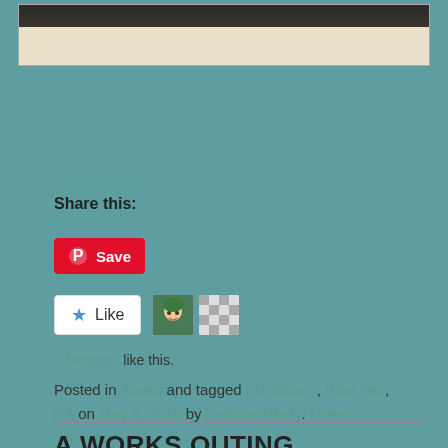[Figure (photo): Top portion of a framed artwork or photograph shown at the top of the page, with a dark upper strip and light beige/cream colored body, partially visible.]
Share this:
[Figure (other): Red Pinterest Save button with Pinterest logo icon]
[Figure (other): Like button widget (white with blue star and Like text) with two blogger avatar icons next to it]
2 bloggers like this.
Posted in Books and tagged exhibitions, Print Fair, RA on May 6, 2016 by haftonandkelly. Leave a comment
A WORKS OUTING